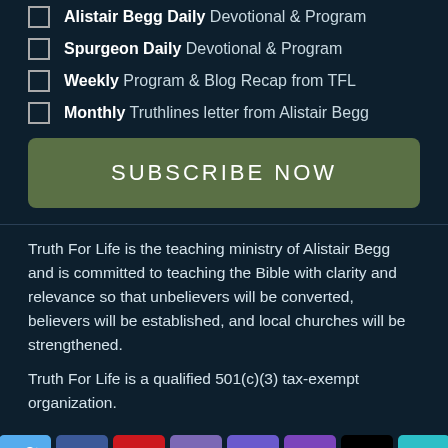Alistair Begg Daily Devotional & Program
Spurgeon Daily Devotional & Program
Weekly Program & Blog Recap from TFL
Monthly Truthlines letter from Alistair Begg
SUBSCRIBE NOW
Truth For Life is the teaching ministry of Alistair Begg and is committed to teaching the Bible with clarity and relevance so that unbelievers will be converted, believers will be established, and local churches will be strengthened.
Truth For Life is a qualified 501(c)(3) tax-exempt organization.
[Figure (infographic): Row of social media icons: Twitter (blue), Facebook (indigo), YouTube (red), Email (purple), Instagram (purple), Roku (purple), Apple (black), TFL (teal)]